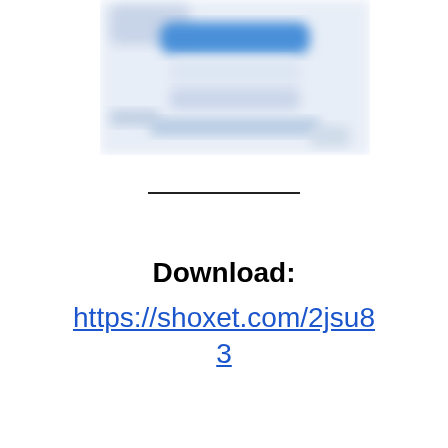[Figure (screenshot): Blurred screenshot of a mobile app or website interface with blue and light grey elements, partially visible at the top of the page.]
Download:
https://shoxet.com/2jsu83